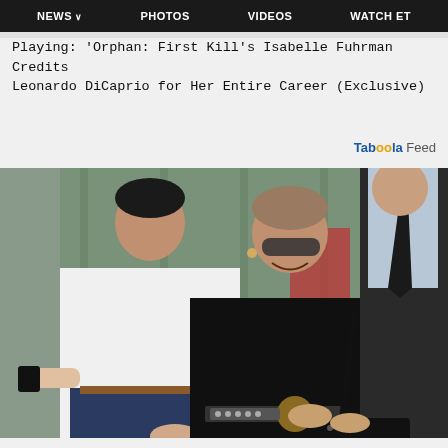NEWS  PHOTOS  VIDEOS  WATCH ET
Playing: 'Orphan: First Kill's Isabelle Fuhrman Credits Leonardo DiCaprio for Her Entire Career (Exclusive)
Taboola Feed
[Figure (photo): Two women walking outdoors. One woman in a white shirt and navy pants holds the arm of an older woman dressed in black with sunglasses and a black bag. A man in a dark suit and tie is partially visible in the background.]